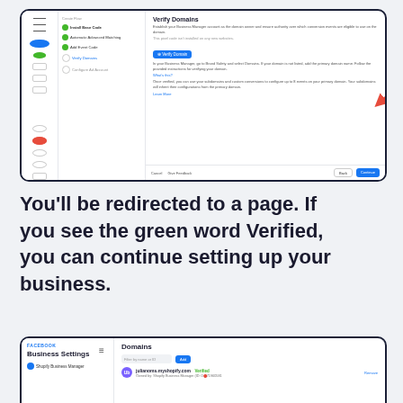[Figure (screenshot): Facebook Business Manager screenshot showing Verify Domains step with a Verify Domain button highlighted by a red arrow, and instructions for verifying domain.]
You'll be redirected to a page. If you see the green word Verified, you can continue setting up your business.
[Figure (screenshot): Facebook Business Settings screenshot showing Domains section with julianoms.myshopify.com listed as Verified in green.]